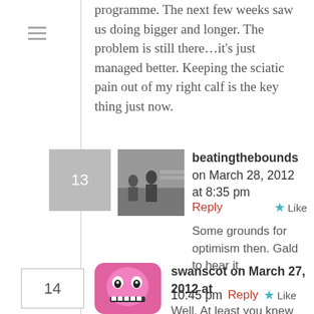programme. The next few weeks saw us doing bigger and longer. The problem is still there…it's just managed better. Keeping the sciatic pain out of my right calf is the key thing just now.
beatingthebounds on March 28, 2012 at 8:35 pm
Reply
Some grounds for optimism then. Gald to hear it.
swanscot on March 27, 2012 at 10:45 pm
Reply
Well, At least you knew where you